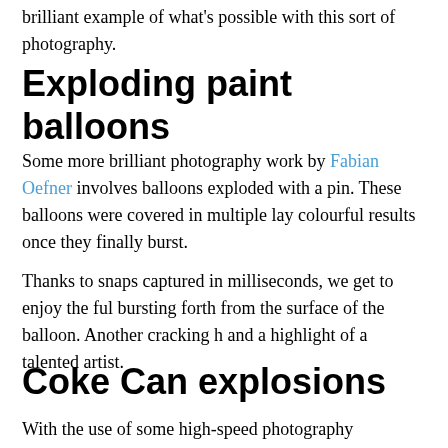brilliant example of what's possible with this sort of photography.
Exploding paint balloons
Some more brilliant photography work by Fabian Oefner involves balloons exploded with a pin. These balloons were covered in multiple layers of paint, producing colourful results once they finally burst.
Thanks to snaps captured in milliseconds, we get to enjoy the full spectacle of paint bursting forth from the surface of the balloon. Another cracking high-speed photography series and a highlight of a talented artist.
Coke Can explosions
With the use of some high-speed photography equipment, a perfect can of Coca-Cola, photographer Fabian Oefner created this high-speed